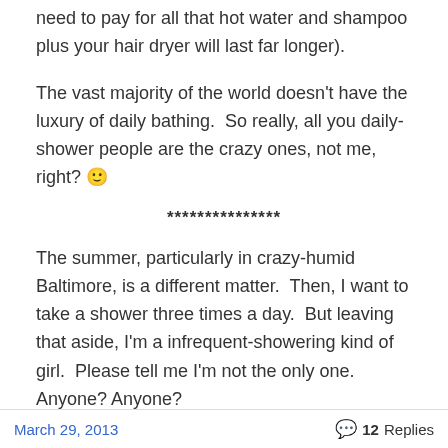need to pay for all that hot water and shampoo plus your hair dryer will last far longer).
The vast majority of the world doesn't have the luxury of daily bathing.  So really, all you daily-shower people are the crazy ones, not me, right? 🙂
***************
The summer, particularly in crazy-humid Baltimore, is a different matter.  Then, I want to take a shower three times a day.  But leaving that aside, I'm a infrequent-showering kind of girl.  Please tell me I'm not the only one.  Anyone? Anyone?
March 29, 2013   💬 12 Replies